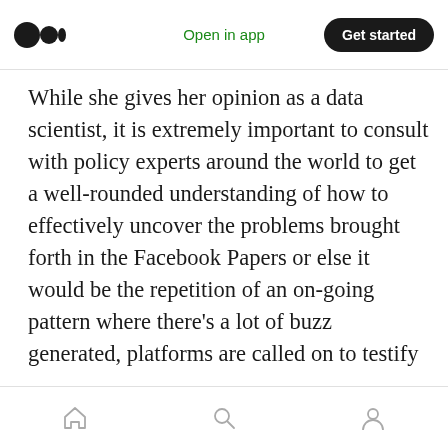Open in app | Get started
While she gives her opinion as a data scientist, it is extremely important to consult with policy experts around the world to get a well-rounded understanding of how to effectively uncover the problems brought forth in the Facebook Papers or else it would be the repetition of an on-going pattern where there's a lot of buzz generated, platforms are called on to testify to Congress, wherein they're “grilled”, platforms try to push back by sharing all the positive impacts associated with the usage of the platform instead
home | search | profile